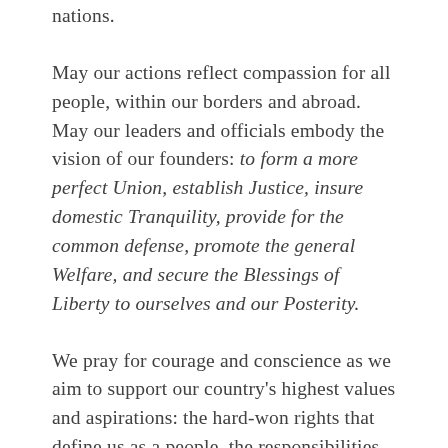nations.
May our actions reflect compassion for all people, within our borders and abroad. May our leaders and officials embody the vision of our founders: to form a more perfect Union, establish Justice, insure domestic Tranquility, provide for the common defense, promote the general Welfare, and secure the Blessings of Liberty to ourselves and our Posterity.
We pray for courage and conscience as we aim to support our country's highest values and aspirations: the hard-won rights that define us as a people, the responsibilities